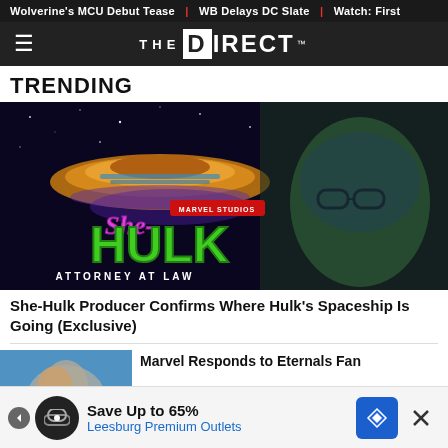Wolverine's MCU Debut Tease | WB Delays DC Slate | Watch: First
[Figure (logo): The Direct logo — white text on dark background with hamburger menu icon]
TRENDING
[Figure (photo): She-Hulk: Attorney at Law Marvel Studios promotional image featuring the She-Hulk logo in green and purple text, Marvel Studios branding, and a green-tinted figure (Smart Hulk/Bruce Banner) in the background against a space/cosmic backdrop]
She-Hulk Producer Confirms Where Hulk's Spaceship Is Going (Exclusive)
[Figure (photo): Thumbnail image for Marvel Responds to Eternals Fan article — partial view showing a character]
Marvel Responds to Eternals Fan
Save Up to 65% Leesburg Premium Outlets